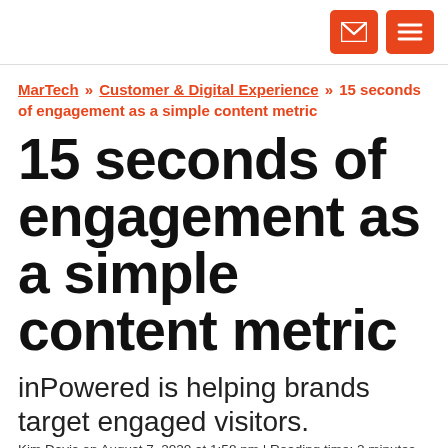[email icon] [menu icon]
MarTech » Customer & Digital Experience » 15 seconds of engagement as a simple content metric
15 seconds of engagement as a simple content metric
inPowered is helping brands target engaged visitors.
Kim Davis on August 7, 2020 at 1:58 pm | Reading time: 2 minutes